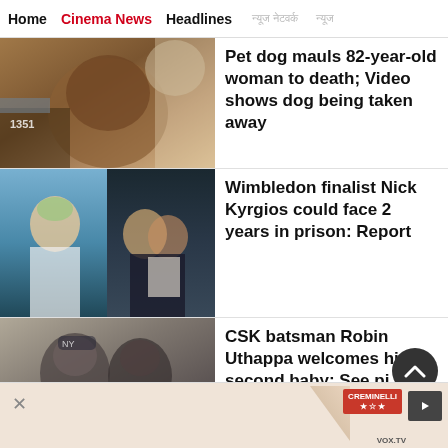Home  Cinema News  Headlines
[Figure (photo): Close-up photo of a dog's face and body]
Pet dog mauls 82-year-old woman to death; Video shows dog being taken away
[Figure (photo): Two photos: left shows Nick Kyrgios on tennis court; right shows Nick Kyrgios with a woman at night]
Wimbledon finalist Nick Kyrgios could face 2 years in prison: Report
[Figure (photo): Black and white photo of two men, one in a Yankees cap]
CSK batsman Robin Uthappa welcomes his second baby: See pi…